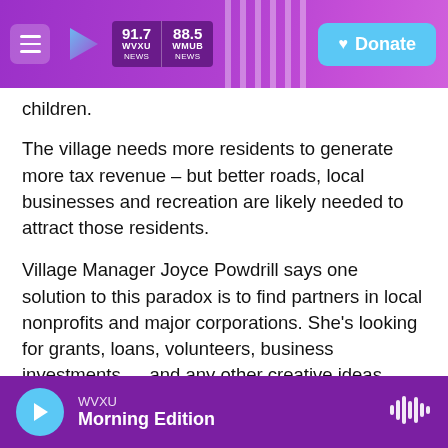WVXU 91.7 NEWS | 88.5 WMUB NEWS | Donate
children.
The village needs more residents to generate more tax revenue – but better roads, local businesses and recreation are likely needed to attract those residents.
Village Manager Joyce Powdrill says one solution to this paradox is to find partners in local nonprofits and major corporations. She's looking for grants, loans, volunteers, business investments — and any other creative ideas.
"I think we're getting to a point where the
WVXU Morning Edition